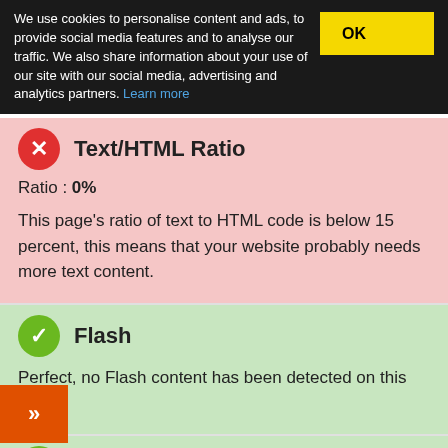We use cookies to personalise content and ads, to provide social media features and to analyse our traffic. We also share information about your use of our site with our social media, advertising and analytics partners. Learn more
Text/HTML Ratio
Ratio : 0%
This page's ratio of text to HTML code is below 15 percent, this means that your website probably needs more text content.
Flash
Perfect, no Flash content has been detected on this page.
Iframe